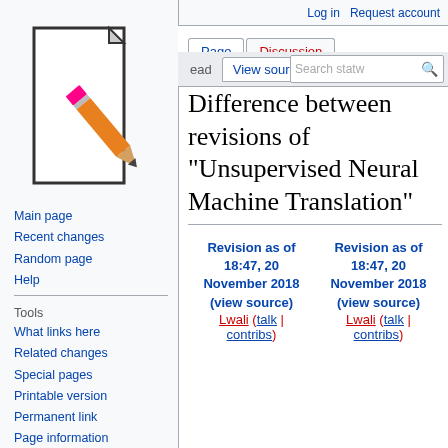Log in  Request account
[Figure (logo): Wikipedia pencil and paper logo illustration]
Main page
Recent changes
Random page
Help
Tools
What links here
Related changes
Special pages
Printable version
Permanent link
Page information
Difference between revisions of "Unsupervised Neural Machine Translation"
| Revision as of 18:47, 20 November 2018 (view source) | Revision as of 18:47, 20 November 2018 (view source) |
| --- | --- |
| Lwali (talk | contribs) | Lwali (talk | contribs) |